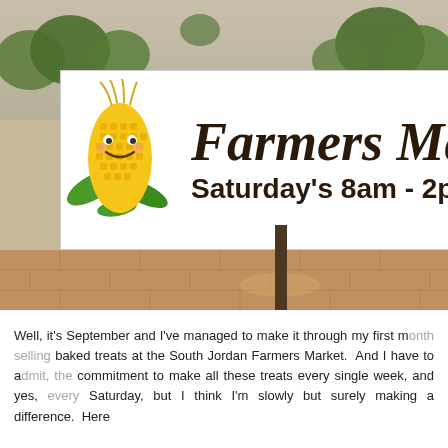[Figure (photo): Outdoor photo of a Farmers Market banner sign reading 'Farmers Ma[rket]' with a cartoon corn mascot on the left and 'Saturday’s 8am - 2pm' below, hung on a fence with trees and sky visible behind, and a paved area in the foreground.]
Well, it’s September and I’ve managed to make it through my first m[onth] baked treats at the South Jordan Farmers Market.  And I have to a[dmit] commitment to make all these treats every single week, and yes, [every] Saturday, but I think I’m slowly but surely making a difference.  Here